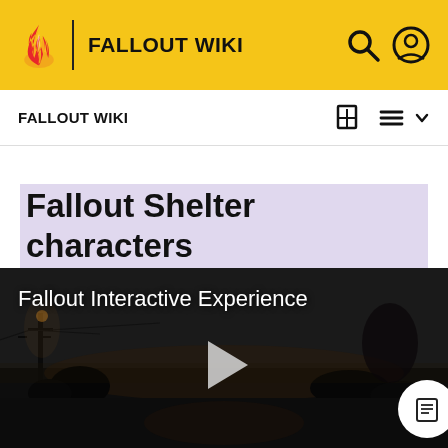FALLOUT WIKI
FALLOUT WIKI
Fallout Shelter characters
[Figure (screenshot): Video thumbnail showing a dark post-apocalyptic scene with utility poles and silhouetted landscape. Text overlay reads 'Fallout Interactive Experience'. A white play button triangle is centered. A transcript icon button appears in bottom-right corner.]